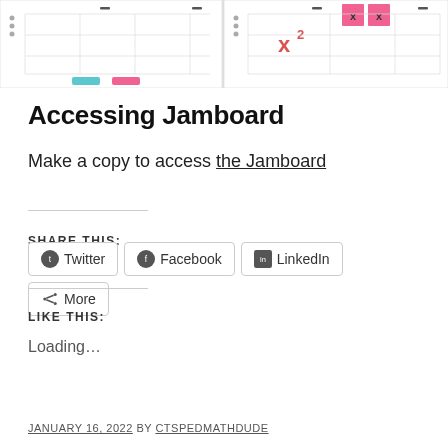[Figure (screenshot): Two side-by-side screenshots of a Jamboard or educational tool interface. Left panel shows a grid with cyan and pink colored bars at the bottom. Right panel shows a red x-squared symbol on the left and pink X boxes on the right side.]
Accessing Jamboard
Make a copy to access the Jamboard
SHARE THIS:
Twitter
Facebook
LinkedIn
More
LIKE THIS:
Loading...
JANUARY 16, 2022 BY CTSPEDMATHDUDE